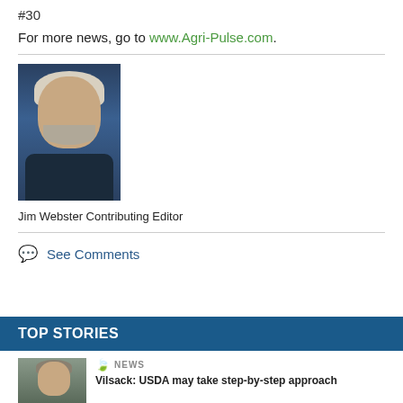#30
For more news, go to www.Agri-Pulse.com.
[Figure (photo): Headshot of Jim Webster, Contributing Editor, an older man with white hair and a beard, wearing a dark jacket against a dark blue background.]
Jim Webster Contributing Editor
See Comments
TOP STORIES
[Figure (photo): Thumbnail photo of a man, likely Tom Vilsack, outdoors.]
NEWS
Vilsack: USDA may take step-by-step approach